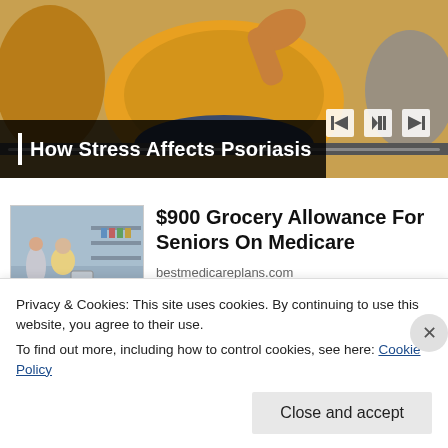[Figure (screenshot): Video player showing a person in a yellow sweater, with playback controls (skip back, play/pause, skip forward) and a progress bar. Title overlay reads 'How Stress Affects Psoriasis'.]
How Stress Affects Psoriasis
[Figure (photo): Advertisement image showing people in a grocery store with shopping carts.]
$900 Grocery Allowance For Seniors On Medicare
bestmedicareplans.com
Privacy & Cookies: This site uses cookies. By continuing to use this website, you agree to their use.
To find out more, including how to control cookies, see here: Cookie Policy
Close and accept